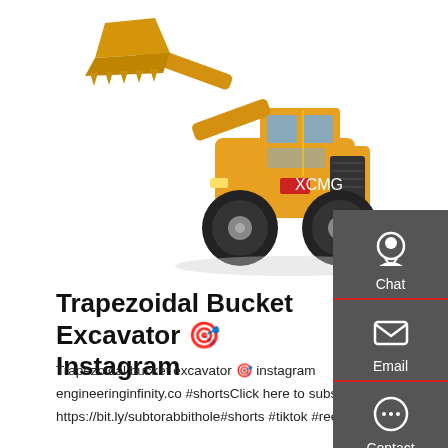[Figure (photo): Yellow trapezoidal bucket wheel loader / excavator machine photographed on white background, shown at an angle with the bucket raised.]
Trapezoidal Bucket Excavator 🎯 Instagram
Trapezoidal bucket excavator 🎯 instagram engineeringinfinity.co #shortsClick here to subscribe: https://bit.ly/subtorabbithole#shorts #tiktok #reelz Subscr